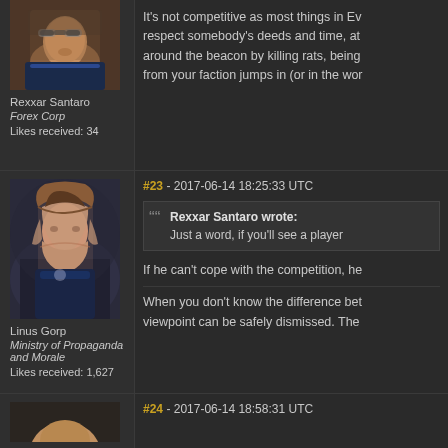[Figure (photo): Avatar of Rexxar Santaro - male character with sunglasses and blue outfit]
Rexxar Santaro
Forex Corp
Likes received: 34
It's not competitive as most things in Ev... respect somebody's deeds and time, at... around the beacon by killing rats, being... from your faction jumps in (or in the wor...
#23 - 2017-06-14 18:25:33 UTC
[Figure (photo): Avatar of Linus Gorp - female character with long brown hair and dark blue outfit]
Linus Gorp
Ministry of Propaganda and Morale
Likes received: 1,627
Rexxar Santaro wrote:
Just a word, if you'll see a player
If he can't cope with the competition, he
When you don't know the difference bet... viewpoint can be safely dismissed. The
#24 - 2017-06-14 18:58:31 UTC